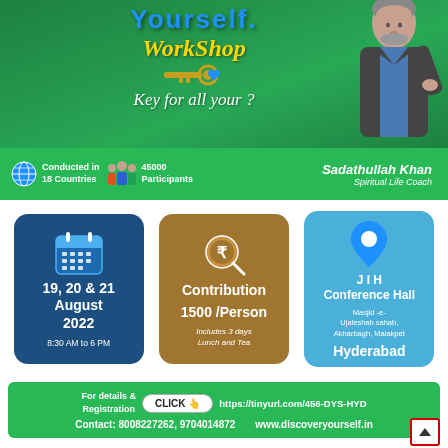[Figure (infographic): Workshop promotional banner with green background, decorative key icon, 'Yourself Workshop' title, 'Key for all your?' tagline, and photo of male presenter in suit]
Conducted in 18 Countries | 45000 Participants | Sadathullah Khan, Spiritual Life Coach
[Figure (infographic): Three info cards: Date card (19, 20 & 21 August 2022, 8:30 AM to 6 PM), Contribution card (1500/Person, Includes 3 days Lunch and Tea), Venue card (JIH Conference Hall, Masjid-e-Ujaleshah sahab, Akharbagh, Malakpet, Hyderabad)]
For details & Registration CLICK https://tinyurl.com/456-DYS-HYD
Contact: 8008227262, 9704014872    www.discoveryourself.in